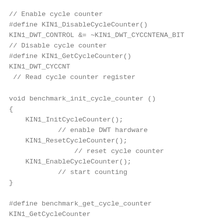// Enable cycle counter
#define KIN1_DisableCycleCounter()
KIN1_DWT_CONTROL &= ~KIN1_DWT_CYCCNTENA_BIT
// Disable cycle counter
#define KIN1_GetCycleCounter()
KIN1_DWT_CYCCNT
 // Read cycle counter register

void benchmark_init_cycle_counter ()
{
    KIN1_InitCycleCounter();
            // enable DWT hardware
    KIN1_ResetCycleCounter();
                // reset cycle counter
    KIN1_EnableCycleCounter();
            // start counting
}

#define benchmark_get_cycle_counter
KIN1_GetCycleCounter